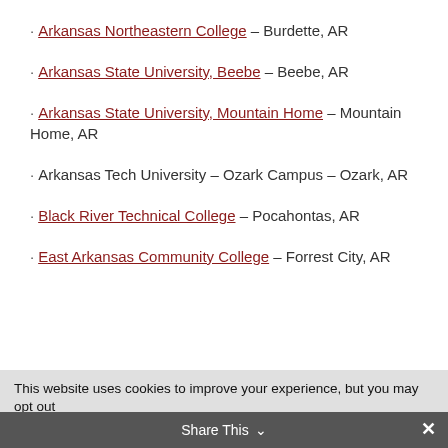Arkansas Northeastern College – Burdette, AR
Arkansas State University, Beebe – Beebe, AR
Arkansas State University, Mountain Home – Mountain Home, AR
Arkansas Tech University – Ozark Campus – Ozark, AR
Black River Technical College – Pocahontas, AR
East Arkansas Community College – Forrest City, AR
This website uses cookies to improve your experience, but you may opt out if you wish.
Share This